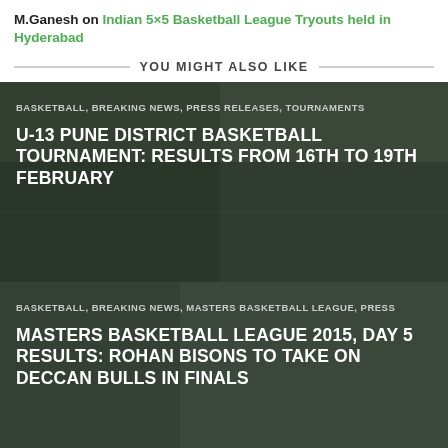M.Ganesh on Indian 5×5 Basketball League Tryouts held in Hyderabad
YOU MIGHT ALSO LIKE
[Figure (photo): Basketball players on an outdoor court, dark overlay, card for U-13 Pune District Basketball Tournament article]
BASKETBALL, BREAKING NEWS, PRESS RELEASES, TOURNAMENTS
U-13 PUNE DISTRICT BASKETBALL TOURNAMENT: RESULTS FROM 16TH TO 19TH FEBRUARY
[Figure (photo): Basketball players in action during a Masters Basketball League game, dark overlay, card for Masters Basketball League 2015 article]
BASKETBALL, BREAKING NEWS, MASTERS BASKETBALL LEAGUE, PRESS
MASTERS BASKETBALL LEAGUE 2015, DAY 5 RESULTS: ROHAN BISONS TO TAKE ON DECCAN BULLS IN FINALS